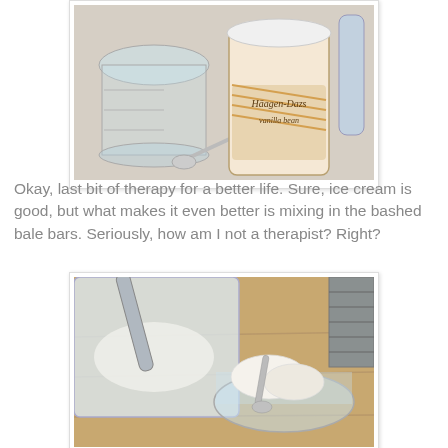[Figure (photo): Photo of a Häagen-Dazs vanilla bean ice cream container on a counter, next to a glass measuring cup and a spoon.]
Okay, last bit of therapy for a better life.  Sure, ice cream is good, but what makes it even better is mixing in the bashed bale bars.  Seriously, how am I not a therapist?  Right?
[Figure (photo): Photo of ice cream being scooped into a glass, with a plastic bag of crushed bars and a metal scoop on a wooden surface.]